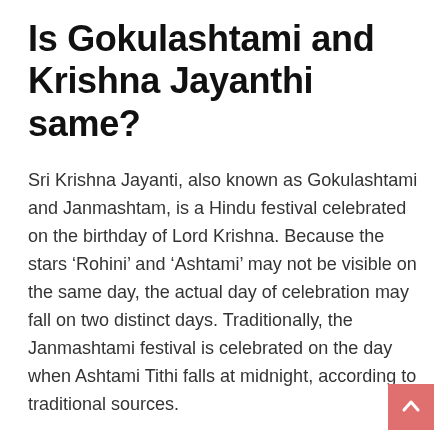Is Gokulashtami and Krishna Jayanthi same?
Sri Krishna Jayanti, also known as Gokulashtami and Janmashtam, is a Hindu festival celebrated on the birthday of Lord Krishna. Because the stars ‘Rohini’ and ‘Ashtami’ may not be visible on the same day, the actual day of celebration may fall on two distinct days. Traditionally, the Janmashtami festival is celebrated on the day when Ashtami Tithi falls at midnight, according to traditional sources.
Is it good if a baby is born on Janmashtami?